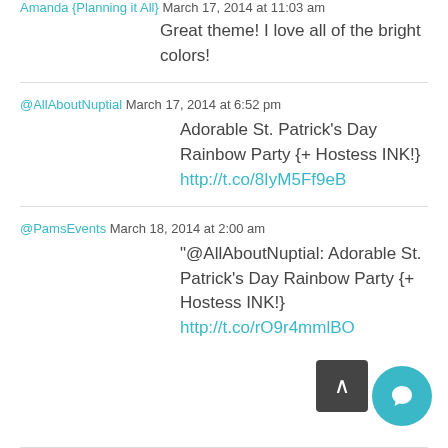Amanda {Planning it All}  March 17, 2014 at 11:03 am
Great theme! I love all of the bright colors!
@AllAboutNuptial  March 17, 2014 at 6:52 pm
Adorable St. Patrick’s Day Rainbow Party {+ Hostess INK!} http://t.co/8IyM5Ff9eB
@PamsEvents  March 18, 2014 at 2:00 am
“@AllAboutNuptial: Adorable St. Patrick’s Day Rainbow Party {+ Hostess INK!} http://t.co/rO9r4mmlBO